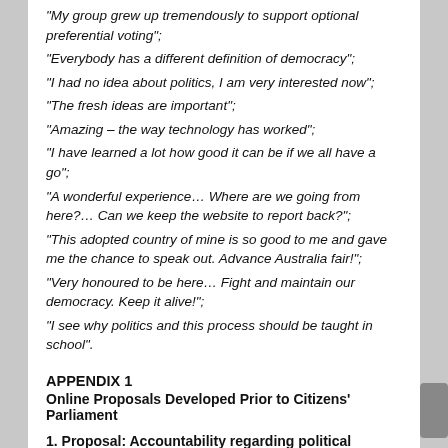“My group grew up tremendously to support optional preferential voting”;
“Everybody has a different definition of democracy”;
“I had no idea about politics, I am very interested now”;
“The fresh ideas are important”;
“Amazing – the way technology has worked”;
“I have learned a lot how good it can be if we all have a go”;
“A wonderful experience… Where are we going from here?… Can we keep the website to report back?”;
“This adopted country of mine is so good to me and gave me the chance to speak out. Advance Australia fair!”;
“Very honoured to be here… Fight and maintain our democracy. Keep it alive!”;
“I see why politics and this process should be taught in school”.
APPENDIX 1
Online Proposals Developed Prior to Citizens’ Parliament
1. Proposal: Accountability regarding political promises